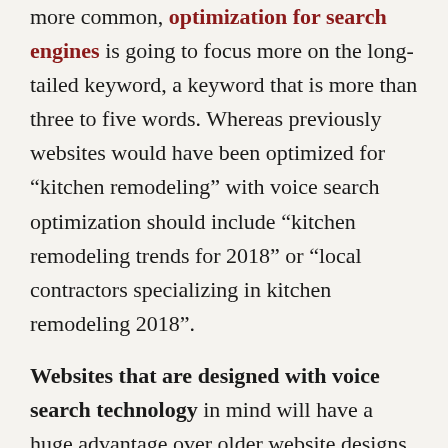more common, optimization for search engines is going to focus more on the long-tailed keyword, a keyword that is more than three to five words. Whereas previously websites would have been optimized for “kitchen remodeling” with voice search optimization should include “kitchen remodeling trends for 2018” or “local contractors specializing in kitchen remodeling 2018”.
Websites that are designed with voice search technology in mind will have a huge advantage over older website designs that do not redesign their sites to include optimization for the new technology. Long tailed keywords and phrases are less competitive and therefore easier to rank for.